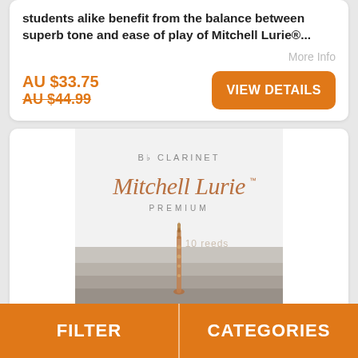students alike benefit from the balance between superb tone and ease of play of Mitchell Lurie®...
More Info
AU $33.75
AU $44.99
VIEW DETAILS
[Figure (photo): Mitchell Lurie Premium Bb Clarinet reeds box product image, showing the brand name in script lettering, Bb Clarinet text, PREMIUM label, and a clarinet illustration, with gradient gray/silver background stripes.]
FILTER
CATEGORIES